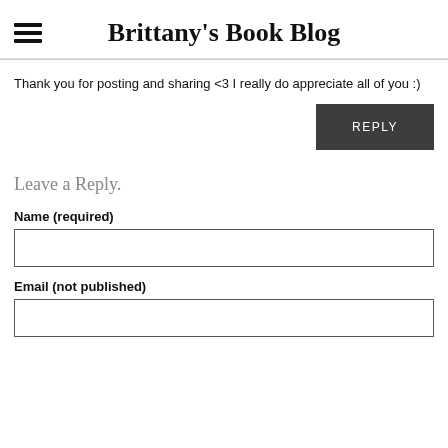Brittany's Book Blog
Thank you for posting and sharing <3 I really do appreciate all of you :)
REPLY
Leave a Reply.
Name (required)
Email (not published)